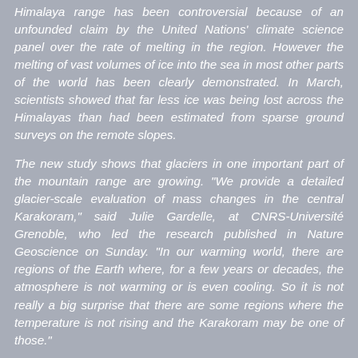Himalaya range has been controversial because of an unfounded claim by the United Nations' climate science panel over the rate of melting in the region. However the melting of vast volumes of ice into the sea in most other parts of the world has been clearly demonstrated. In March, scientists showed that far less ice was being lost across the Himalayas than had been estimated from sparse ground surveys on the remote slopes.
The new study shows that glaciers in one important part of the mountain range are growing. "We provide a detailed glacier-scale evaluation of mass changes in the central Karakoram," said Julie Gardelle, at CNRS-Université Grenoble, who led the research published in Nature Geoscience on Sunday. "In our warming world, there are regions of the Earth where, for a few years or decades, the atmosphere is not warming or is even cooling. So it is not really a big surprise that there are some regions where the temperature is not rising and the Karakoram may be one of those."
The scientists used 3D altitude maps obtained from satellites in 2000 and 2008 to track the changes in the